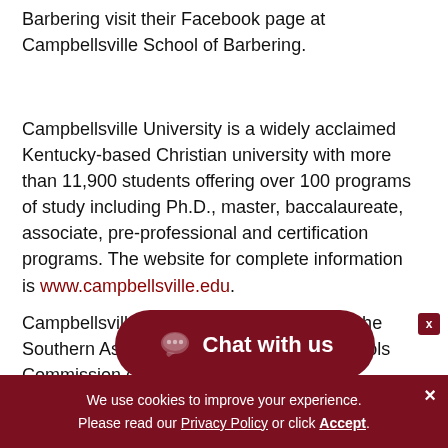Barbering visit their Facebook page at Campbellsville School of Barbering.
Campbellsville University is a widely acclaimed Kentucky-based Christian university with more than 11,900 students offering over 100 programs of study including Ph.D., master, baccalaureate, associate, pre-professional and certification programs. The website for complete information is www.campbellsville.edu.
Campbellsville University is accredited by the Southern Association of Colleges and Schools Commission on Colleges associate, baccalaureate, degrees. Contact the Commission on Colleges at 1866
[Figure (other): Chat with us button widget — dark red rounded pill button with speech bubble icon and text 'Chat with us']
We use cookies to improve your experience. Please read our Privacy Policy or click Accept.